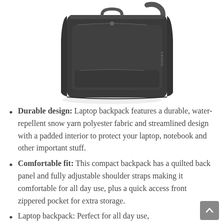[Figure (photo): A dark gray/charcoal Lenovo laptop backpack shown from a front-top angle. The bag is compact, square-shaped with a structured design. It has a small Lenovo logo on the front panel and a shoulder strap visible at the top right.]
Durable design: Laptop backpack features a durable, water-repellent snow yarn polyester fabric and streamlined design with a padded interior to protect your laptop, notebook and other important stuff.
Comfortable fit: This compact backpack has a quilted back panel and fully adjustable shoulder straps making it comfortable for all day use, plus a quick access front zippered pocket for extra storage.
Laptop backpack: Perfect for all day use, ...